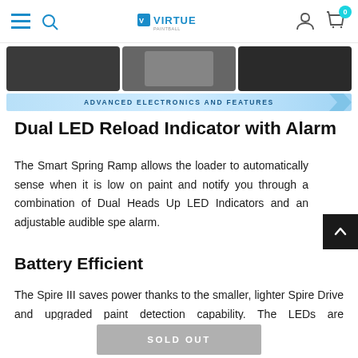Virtue - navigation bar with hamburger menu, search, logo, account, cart
[Figure (photo): Three product photos of paintball loaders/hoppers in a row, with a blue banner below reading 'ADVANCED ELECTRONICS AND FEATURES']
Dual LED Reload Indicator with Alarm
The Smart Spring Ramp allows the loader to automatically sense when it is low on paint and notify you through a combination of Dual Heads Up LED Indicators and an adjustable audible spe alarm.
Battery Efficient
The Spire III saves power thanks to the smaller, lighter Spire Drive and upgraded paint detection capability. The LEDs are automatically dimmed to conserve 50% more power after a few seconds of inactivity. Additionally, an ultra-low battery can be